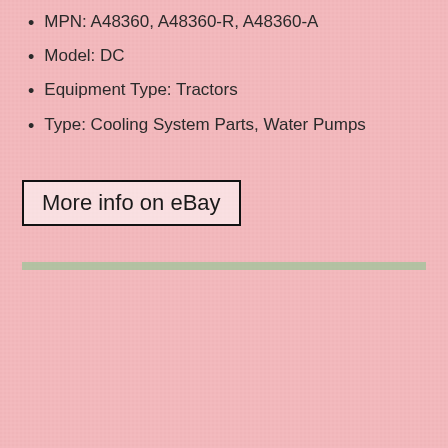MPN: A48360, A48360-R, A48360-A
Model: DC
Equipment Type: Tractors
Type: Cooling System Parts, Water Pumps
More info on eBay